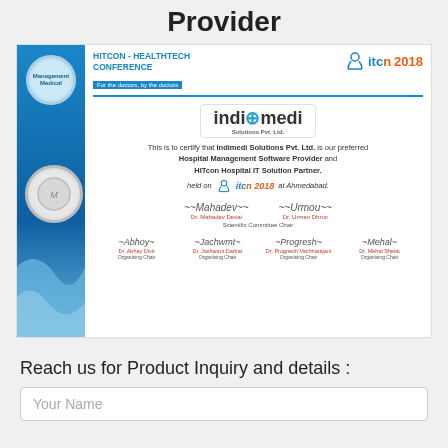Provider
[Figure (other): HITCON HealthTech Conference 2018 certificate for Indimedi Solutions Pvt. Ltd. as preferred Hospital Management Software Provider and HITcon Hospital IT Solution Partner, held at Ahmedabad, with multiple signatures from organizing and scientific committee chairs.]
Reach us for Product Inquiry and details :
Your Name